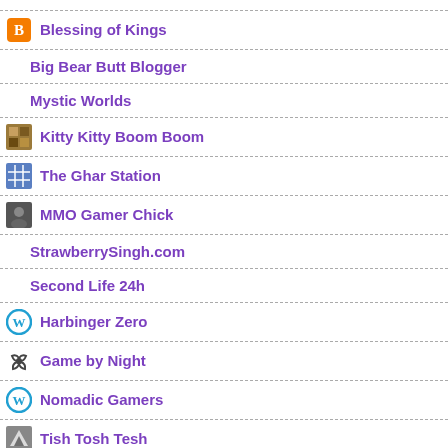Blessing of Kings
Big Bear Butt Blogger
Mystic Worlds
Kitty Kitty Boom Boom
The Ghar Station
MMO Gamer Chick
StrawberrySingh.com
Second Life 24h
Harbinger Zero
Game by Night
Nomadic Gamers
Tish Tosh Tesh
MMO Gypsy
Hardcore Casual